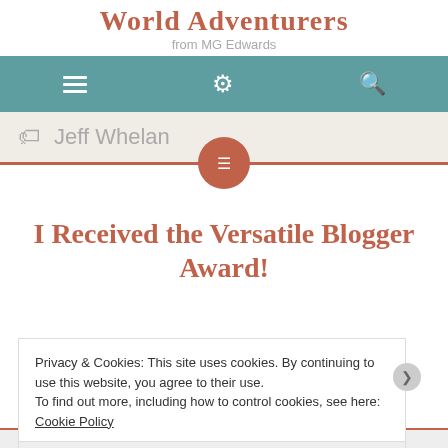World Adventurers from MG Edwards
[Figure (screenshot): Navigation bar with hamburger menu, gear/settings icon, and search icon on teal background]
Jeff Whelan
I Received the Versatile Blogger Award!
Privacy & Cookies: This site uses cookies. By continuing to use this website, you agree to their use. To find out more, including how to control cookies, see here: Cookie Policy
Close and accept